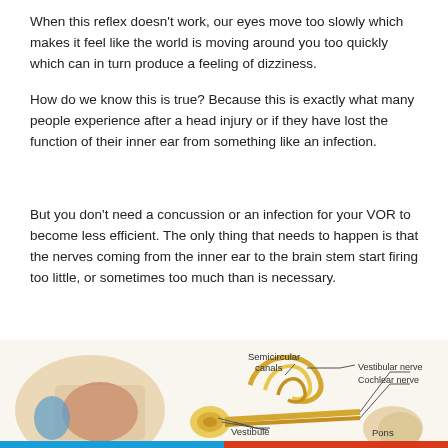When this reflex doesn't work, our eyes move too slowly which makes it feel like the world is moving around you too quickly which can in turn produce a feeling of dizziness.
How do we know this is true? Because this is exactly what many people experience after a head injury or if they have lost the function of their inner ear from something like an infection.
But you don't need a concussion or an infection for your VOR to become less efficient. The only thing that needs to happen is that the nerves coming from the inner ear to the brain stem start firing too little, or sometimes too much than is necessary.
[Figure (illustration): Anatomical diagram of the inner ear showing labeled structures: Semicircular canals, Vestibule, Vestibular nerve, Cochlear nerve, and Pons. The diagram shows a cross-section of the ear with yellow nerve structures and a partially visible grey scroll/button overlay on the right side.]